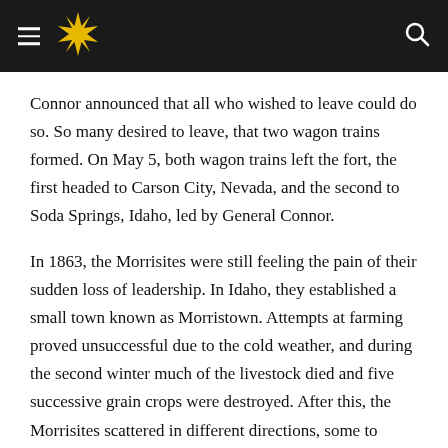[Navigation bar with hamburger menu, star logo, and search icon]
Connor announced that all who wished to leave could do so. So many desired to leave, that two wagon trains formed. On May 5, both wagon trains left the fort, the first headed to Carson City, Nevada, and the second to Soda Springs, Idaho, led by General Connor.
In 1863, the Morrisites were still feeling the pain of their sudden loss of leadership. In Idaho, they established a small town known as Morristown. Attempts at farming proved unsuccessful due to the cold weather, and during the second winter much of the livestock died and five successive grain crops were destroyed. After this, the Morrisites scattered in different directions, some to Nevada and California, while others went to Council Bluffs in Omaha. The largest group settled in Montana,